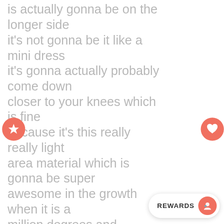is actually gonna be on the longer side it's not gonna be it like a mini dress it's gonna actually probably come down closer to your knees which is fine because it's this really really light area material which is gonna be super awesome in the growth when it is a million degrees and Alabama is there and you just want to be cool and comfortable while you watch the game alright guys that's all I'm gonna show you for today like I said sorry I'm so frazzled I knew my videographer was gonna be gone I didn't realize my photographer was gonna be gone as well so I'm having to take on a lot today I'm glad I was able to be here with